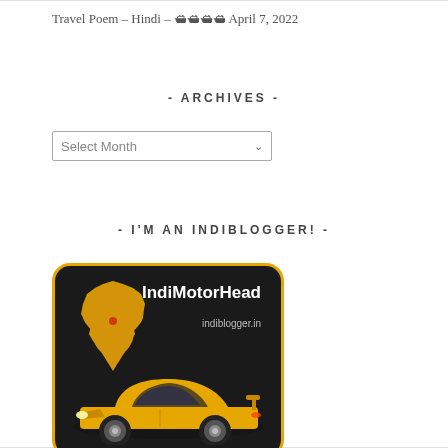Travel Poem – Hindi – ?????? April 7, 2022
- ARCHIVES -
Select Month
- I'M AN INDIBLOGGER! -
[Figure (logo): IndiMotorHead indiblogger.in badge with India map and yellow sports car on dark background with golden border]